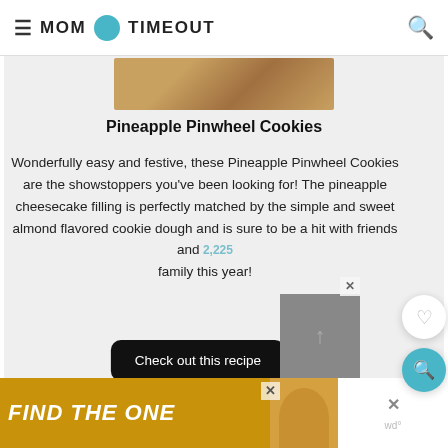≡ MOM ON TIMEOUT 🔍
[Figure (photo): Partial view of a cookie/food photo at the top of the recipe card]
Pineapple Pinwheel Cookies
Wonderfully easy and festive, these Pineapple Pinwheel Cookies are the showstoppers you've been looking for! The pineapple cheesecake filling is perfectly matched by the simple and sweet almond flavored cookie dough and is sure to be a hit with friends and family this year!
2,225
Check out this recipe
[Figure (photo): Gray placeholder thumbnail image]
[Figure (other): Advertisement banner: FIND THE ONE with dog image and close buttons]